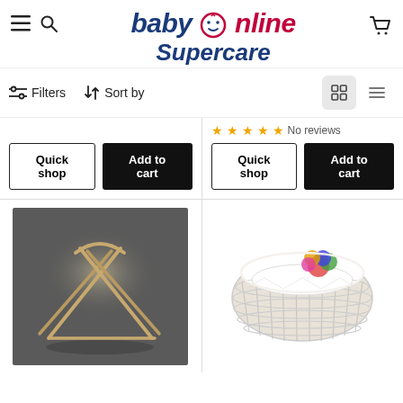[Figure (logo): Baby Online Supercare logo with hamburger menu, search icon, and cart icon]
Filters   Sort by
No reviews
Quick shop   Add to cart (left card)
Quick shop   Add to cart (right card)
[Figure (photo): Moses basket stand - wooden X-frame stand on dark background]
[Figure (photo): White wicker Moses basket with colorful toy]